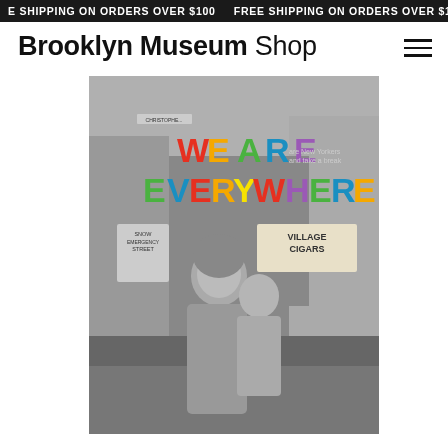FREE SHIPPING ON ORDERS OVER $100
Brooklyn Museum Shop
[Figure (photo): Book cover for 'We Are Everywhere' showing a black and white photograph of people on a street near Village Cigars with colorful rainbow-colored block letters spelling 'WE ARE EVERYWHERE' overlaid on top]